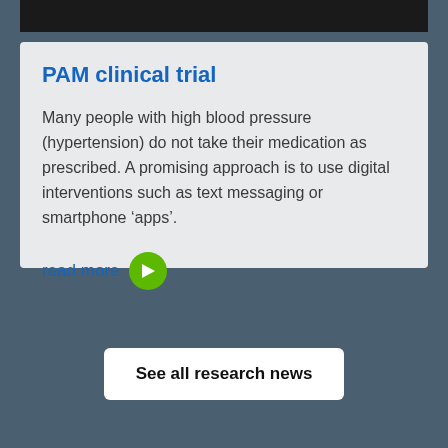PAM clinical trial
Many people with high blood pressure (hypertension) do not take their medication as prescribed. A promising approach is to use digital interventions such as text messaging or smartphone ‘apps’.
read more
See all research news